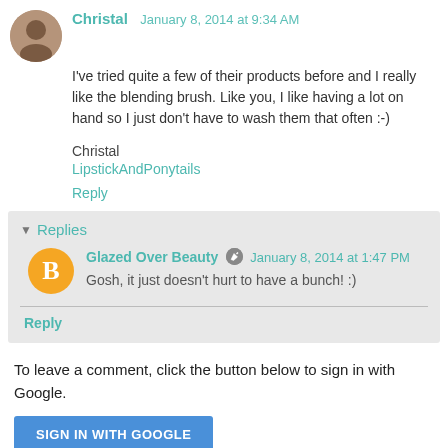Christal  January 8, 2014 at 9:34 AM
I've tried quite a few of their products before and I really like the blending brush. Like you, I like having a lot on hand so I just don't have to wash them that often :-)
Christal
LipstickAndPonytails
Reply
Replies
Glazed Over Beauty  January 8, 2014 at 1:47 PM
Gosh, it just doesn't hurt to have a bunch! :)
Reply
To leave a comment, click the button below to sign in with Google.
SIGN IN WITH GOOGLE